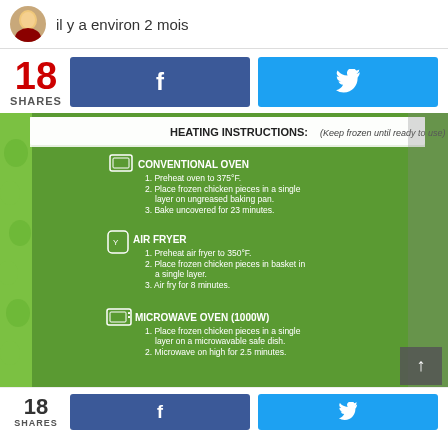il y a environ 2 mois
18 SHARES
[Figure (photo): Green frozen chicken product package showing heating instructions: CONVENTIONAL OVEN (preheat to 375°F, place frozen chicken pieces in single layer on ungreased baking pan, bake uncovered for 23 minutes), AIR FRYER (preheat to 350°F, place frozen chicken pieces in basket in single layer, air fry for 8 minutes), MICROWAVE OVEN 1000W (place frozen chicken pieces in single layer on microwavable safe dish, microwave on high for 2.5 minutes). Keep frozen until ready to use.]
18 SHARES